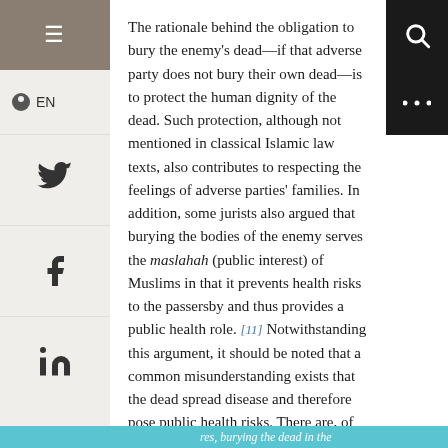The rationale behind the obligation to bury the enemy's dead—if that adverse party does not bury their own dead—is to protect the human dignity of the dead. Such protection, although not mentioned in classical Islamic law texts, also contributes to respecting the feelings of adverse parties' families. In addition, some jurists also argued that burying the bodies of the enemy serves the maslahah (public interest) of Muslims in that it prevents health risks to the passersby and thus provides a public health role. [11] Notwithstanding this argument, it should be noted that a common misunderstanding exists that the dead spread disease and therefore pose public health risks. There are, of course, exceptions to this misconception—such as in the case of Ebola.
Quick burial
Respect for dead bodies manifests itself in diverse ways in different cultures around the world.In Islamic